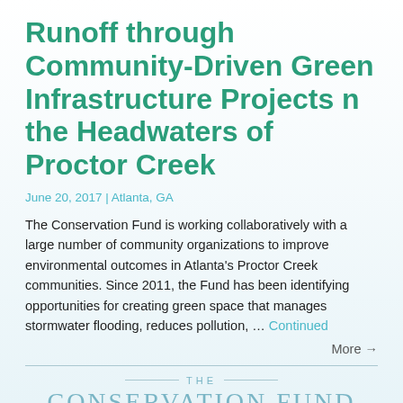Runoff through Community-Driven Green Infrastructure Projects n the Headwaters of Proctor Creek
June 20, 2017 | Atlanta, GA
The Conservation Fund is working collaboratively with a large number of community organizations to improve environmental outcomes in Atlanta's Proctor Creek communities. Since 2011, the Fund has been identifying opportunities for creating green space that manages stormwater flooding, reduces pollution, … Continued
More →
[Figure (logo): The Conservation Fund logo with horizontal rules flanking 'THE' and large text 'CONSERVATION FUND' below]
Engaging the Community and Creating Young Scientists to Protect...